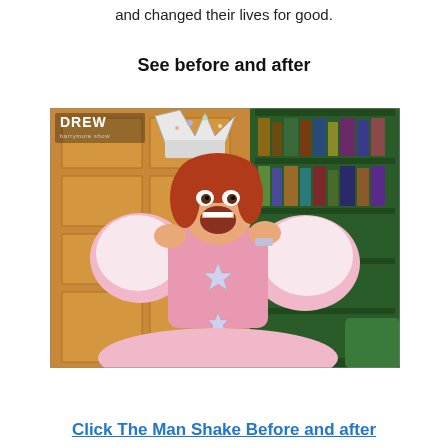and changed their lives for good.
See before and after
[Figure (photo): A woman dressed as Glinda the Good Witch from Wizard of Oz, wearing a sparkly white crown and pink tutu ball gown, with red hair and an open-mouthed excited expression, hands raised to her face. The Drew Barrymore Show logo is visible in the upper left corner. Background shows a golden panel wall and green bookcase.]
Click The Man Shake Before and after